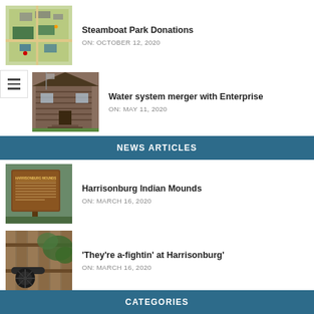[Figure (photo): Aerial/map view of Steamboat Park area]
Steamboat Park Donations
ON:  OCTOBER 12, 2020
[Figure (photo): Old wooden log cabin building with stairs]
Water system merger with Enterprise
ON:  MAY 11, 2020
NEWS ARTICLES
[Figure (photo): Historical marker sign for Harrisonburg Indian Mounds]
Harrisonburg Indian Mounds
ON:  MARCH 16, 2020
[Figure (photo): Old cannon near a wooden fence with vegetation]
'They're a-fightin' at Harrisonburg'
ON:  MARCH 16, 2020
CATEGORIES